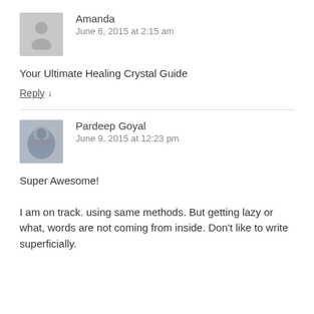[Figure (illustration): Gray placeholder avatar icon for user Amanda]
Amanda
June 6, 2015 at 2:15 am
Your Ultimate Healing Crystal Guide
Reply ↓
[Figure (photo): Profile photo of Pardeep Goyal, a man with a beard wearing a gray shirt]
Pardeep Goyal
June 9, 2015 at 12:23 pm
Super Awesome!

I am on track. using same methods. But getting lazy or what, words are not coming from inside. Don't like to write superficially.